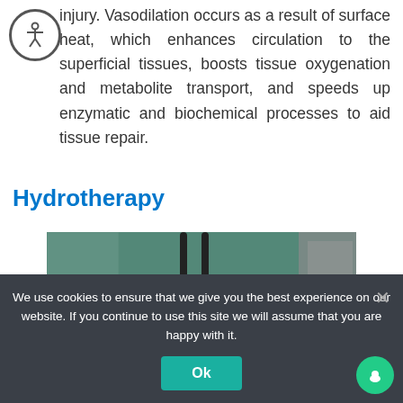injury. Vasodilation occurs as a result of surface heat, which enhances circulation to the superficial tissues, boosts tissue oxygenation and metabolite transport, and speeds up enzymatic and biochemical processes to aid tissue repair.
Hydrotherapy
[Figure (photo): Photo of a golden/yellow dog in a hydrotherapy pool with a harness/support equipment visible, viewed from above.]
We use cookies to ensure that we give you the best experience on our website. If you continue to use this site we will assume that you are happy with it.